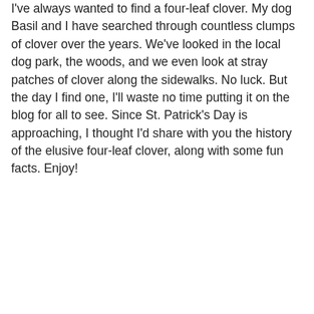I've always wanted to find a four-leaf clover. My dog Basil and I have searched through countless clumps of clover over the years. We've looked in the local dog park, the woods, and we even look at stray patches of clover along the sidewalks. No luck. But the day I find one, I'll waste no time putting it on the blog for all to see. Since St. Patrick's Day is approaching, I thought I'd share with you the history of the elusive four-leaf clover, along with some fun facts. Enjoy!